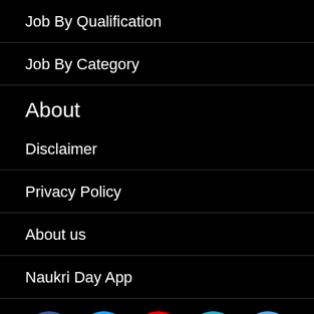Job By Qualification
Job By Category
About
Disclaimer
Privacy Policy
About us
Naukri Day App
[Figure (illustration): Row of 5 social media icons: Facebook (blue), Twitter (light blue), YouTube (red), LinkedIn (teal), Telegram (light blue)]
DISCLAIMER
All the contents of naukriday.com are only for general information or use. naukriday.com does not provide any